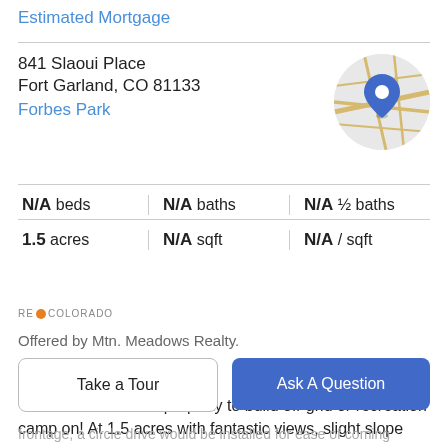Estimated Mortgage
841 Slaoui Place
Fort Garland, CO 81133
Forbes Park
[Figure (map): Circular map thumbnail showing street map with a blue location pin marker]
| N/A beds | N/A baths | N/A ½ baths |
| 1.5 acres | N/A sqft | N/A / sqft |
[Figure (logo): RE Colorado logo with orange dot]
Offered by Mtn. Meadows Realty.
Property Description
This is an awesome property to build off-grid or recreation camp on! At 1.5 acres with fantastic views, slight slope
frontage, a circle drive would be installed for ease of coming
Take a Tour
Ask A Question